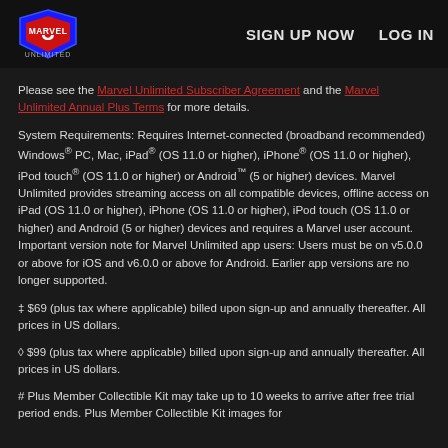Marvel Unlimited — SIGN UP NOW  LOG IN
Please see the Marvel Unlimited Subscriber Agreement and the Marvel Unlimited Annual Plus Terms for more details.
System Requirements: Requires Internet-connected (broadband recommended) Windows® PC, Mac, iPad® (OS 11.0 or higher), iPhone® (OS 11.0 or higher), iPod touch® (OS 11.0 or higher) or Android™ (5 or higher) devices. Marvel Unlimited provides streaming access on all compatible devices, offline access on iPad (OS 11.0 or higher), iPhone (OS 11.0 or higher), iPod touch (OS 11.0 or higher) and Android (5 or higher) devices and requires a Marvel user account. Important version note for Marvel Unlimited app users: Users must be on v5.0.0 or above for iOS and v6.0.0 or above for Android. Earlier app versions are no longer supported.
‡ $69 (plus tax where applicable) billed upon sign-up and annually thereafter. All prices in US dollars.
◊ $99 (plus tax where applicable) billed upon sign-up and annually thereafter. All prices in US dollars.
# Plus Member Collectible Kit may take up to 10 weeks to arrive after free trial period ends. Plus Member Collectible Kit images for